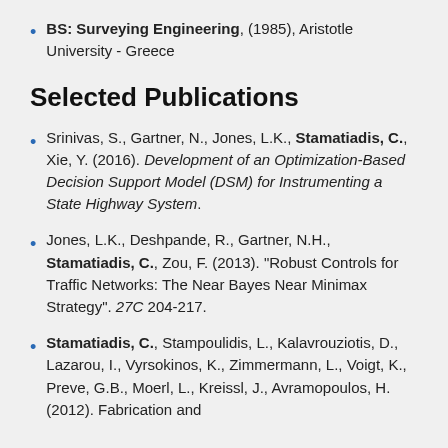BS: Surveying Engineering, (1985), Aristotle University - Greece
Selected Publications
Srinivas, S., Gartner, N., Jones, L.K., Stamatiadis, C., Xie, Y. (2016). Development of an Optimization-Based Decision Support Model (DSM) for Instrumenting a State Highway System.
Jones, L.K., Deshpande, R., Gartner, N.H., Stamatiadis, C., Zou, F. (2013). "Robust Controls for Traffic Networks: The Near Bayes Near Minimax Strategy". 27C 204-217.
Stamatiadis, C., Stampoulidis, L., Kalavrouziotis, D., Lazarou, I., Vyrsokinos, K., Zimmermann, L., Voigt, K., Preve, G.B., Moerl, L., Kreissl, J., Avramopoulos, H. (2012). Fabrication and